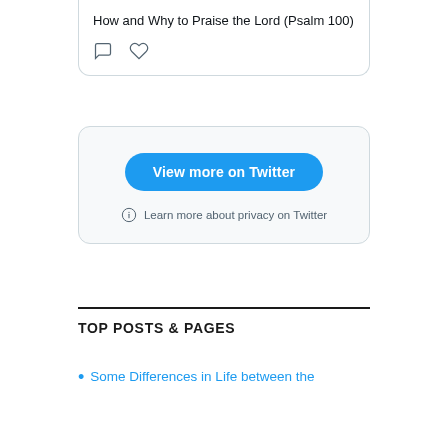How and Why to Praise the Lord (Psalm 100)
[Figure (screenshot): Twitter embed widget with 'View more on Twitter' blue button and 'Learn more about privacy on Twitter' link]
TOP POSTS & PAGES
Some Differences in Life between the